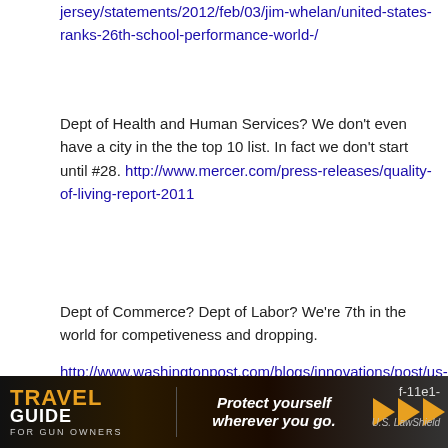jersey/statements/2012/feb/03/jim-whelan/united-states-ranks-26th-school-performance-world-/
Dept of Health and Human Services? We don't even have a city in the the top 10 list. In fact we don't start until #28. http://www.mercer.com/press-releases/quality-of-living-report-2011
Dept of Commerce? Dept of Labor? We're 7th in the world for competiveness and dropping.
http://www.washingtonpost.com/blogs/innovations/post/us-slips-in-world-economic-forums-competitiveness-
f-11e1-
[Figure (other): Advertisement banner: Travel Guide for Gun Owners. Text reads 'Protect yourself wherever you go.' with orange play/arrow buttons and U.S. LawShield logo.]